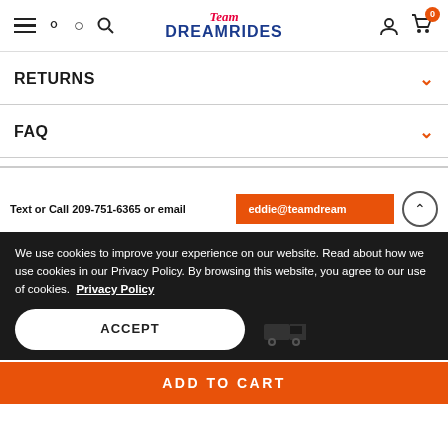Team DreamRides – navigation header with hamburger menu, search, logo, user icon, cart (0)
RETURNS
FAQ
Text or Call 209-751-6365 or email eddie@teamdreamrides.com
We use cookies to improve your experience on our website. Read about how we use cookies in our Privacy Policy. By browsing this website, you agree to our use of cookies. Privacy Policy
ACCEPT
ADD TO CART